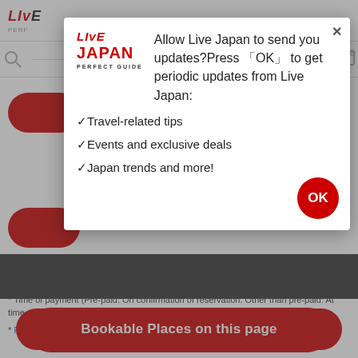LIVE JAPAN PERFECT GUIDE
[Figure (screenshot): Navigation icon row with search and map icons]
[Figure (screenshot): Modal dialog: Allow Live Japan to send you updates? Press OK to get periodic updates from Live Japan: Travel-related tips, Events and exclusive deals, Japan trends and more! With OK button]
* For business names, representatives or managers, and other information, please contact the store directly.
* Time of payment (Pre-paid: On confirmation of reservation. Other than pre-paid: At time of visit.)
* For cancelations
[Figure (screenshot): Red pill button labeled View Details]
[Figure (screenshot): Red pill button labeled Bookable Places on this page]